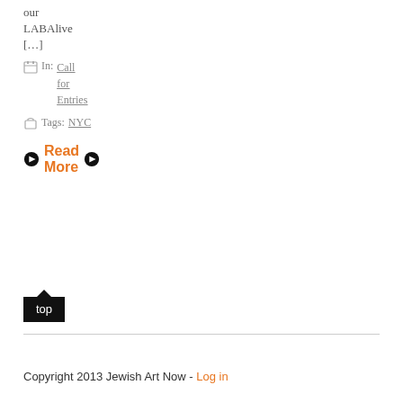our
LABAlive
[…]
In: Call for Entries
Tags: NYC
Read More
top
Copyright 2013 Jewish Art Now - Log in